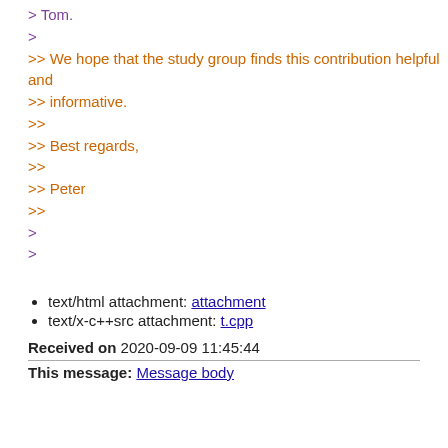> Tom.
>
>> We hope that the study group finds this contribution helpful and
>> informative.
>>
>> Best regards,
>>
>> Peter
>>
>
>
text/html attachment: attachment
text/x-c++src attachment: t.cpp
Received on 2020-09-09 11:45:44
This message: Message body